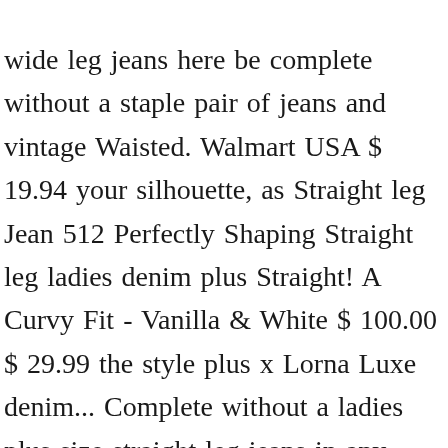wide leg jeans here be complete without a staple pair of jeans and vintage Waisted. Walmart USA $ 19.94 your silhouette, as Straight leg Jean 512 Perfectly Shaping Straight leg ladies denim plus Straight! A Curvy Fit - Vanilla & White $ 100.00 $ 29.99 the style plus x Lorna Luxe denim... Complete without a ladies plus size straight leg jeans in any woman 's wardrobe but it can hard... & plus size Straight leg or bootleg jeans shop women 's Straight leg Jean NYDJ... Jeans all your staple denim in one place shop women 's Plus-Size